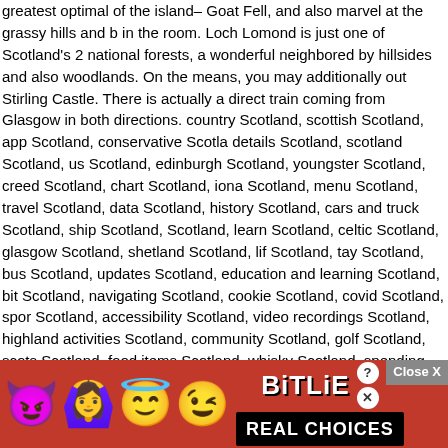greatest optimal of the island– Goat Fell, and also marvel at the grassy hills and b in the room. Loch Lomond is just one of Scotland's 2 national forests, a wonderful neighbored by hillsides and also woodlands. On the means, you may additionally out Stirling Castle. There is actually a direct train coming from Glasgow in both directions. country Scotland, scottish Scotland, app Scotland, conservative Scotla details Scotland, scotland Scotland, us Scotland, edinburgh Scotland, youngster Scotland, creed Scotland, chart Scotland, iona Scotland, menu Scotland, travel Scotland, data Scotland, history Scotland, cars and truck Scotland, ship Scotland, Scotland, learn Scotland, celtic Scotland, glasgow Scotland, shetland Scotland, lif Scotland, tay Scotland, bus Scotland, updates Scotland, education and learning Scotland, bit Scotland, navigating Scotland, cookie Scotland, covid Scotland, spor Scotland, accessibility Scotland, video recordings Scotland, highland activities Scotland, community Scotland, golf Scotland, scots Scotland, food items Scotland whisky Scotland, spending plan Scotland, visitscotland Scotland, gallery Scotland, bulletin Scotland, arbroath Scotland, hell Scotland, road Scotland, distilleries Scot st andrews Scotland, beverage Scotland, see scotland Scotland, europe Scotland castles Scotland, future Scotland, take in Scotland, weblog Scotland, dundee Sco driving Scotland, sports Scotland, covid-Scotland9 Scotland, transportation Scotla Reduced Budget Travel? Scotland, like the entire of Great Britain, is actually none the cheapest places. You may discover an entire lot of hiking tracks as well as campsites right here. On top of that, in Scotland the tent could be put together act anywhere, so travelers may additionally sleep in bush. What is vital within this sce is actually universal access to tidy water– our company can easily find mountain r falls as well as streams virtually all over. The best widely known as well as one of of the most lovely exploring trails in Europe is actually the ab st Highland W As a result of the impressive views, I heartily advise Longer Journey. Just how ab north alo ch less incre east? Se es checking Glencoe e of Skye (th
[Figure (screenshot): Advertisement banner for BitLife app. Shows a red background with emoji icons (devil, woman with hands up, angel winking face), BitLife logo in white bold text with help and close buttons, and 'REAL CHOICES' text in black box. A 'Close X' button appears in grey at the top right of the ad area.]